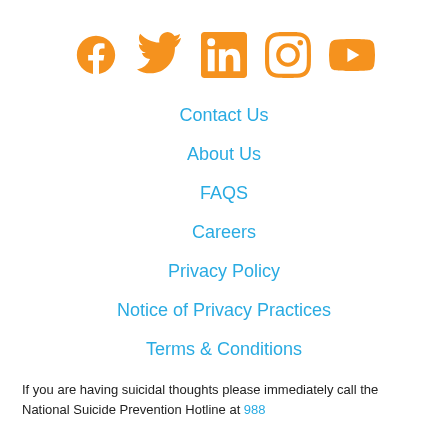[Figure (illustration): Row of five social media icons in orange: Facebook, Twitter, LinkedIn, Instagram, YouTube]
Contact Us
About Us
FAQS
Careers
Privacy Policy
Notice of Privacy Practices
Terms & Conditions
If you are having suicidal thoughts please immediately call the National Suicide Prevention Hotline at 988